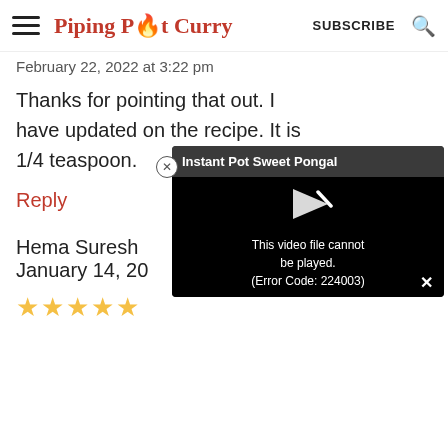Piping Pot Curry | SUBSCRIBE
February 22, 2022 at 3:22 pm
Thanks for pointing that out. I have updated on the recipe. It is 1/4 teaspoon.
Reply
Hema Suresh
January 14, 20
[Figure (screenshot): Video player overlay with title 'Instant Pot Sweet Pongal' showing error message 'This video file cannot be played. (Error Code: 224003)']
★★★★★